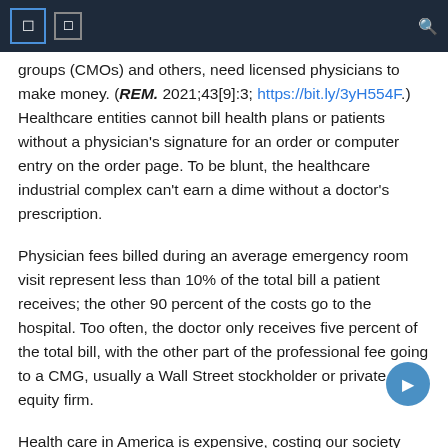groups (CMOs) and others, need licensed physicians to make money. (REM. 2021;43[9]:3; https://bit.ly/3yH554F.) Healthcare entities cannot bill health plans or patients without a physician's signature for an order or computer entry on the order page. To be blunt, the healthcare industrial complex can't earn a dime without a doctor's prescription.
Physician fees billed during an average emergency room visit represent less than 10% of the total bill a patient receives; the other 90 percent of the costs go to the hospital. Too often, the doctor only receives five percent of the total bill, with the other part of the professional fee going to a CMG, usually a Wall Street stockholder or private equity firm.
Health care in America is expensive, costing our society